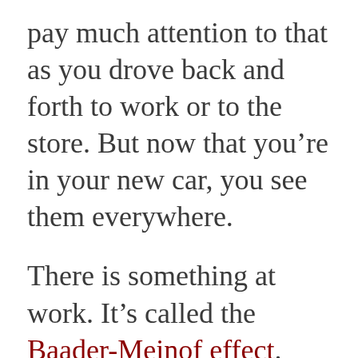pay much attention to that as you drove back and forth to work or to the store. But now that you're in your new car, you see them everywhere.
There is something at work. It's called the Baader-Meinof effect. This happens “when your awareness of something increases. This leads you to believe it’s actually happening